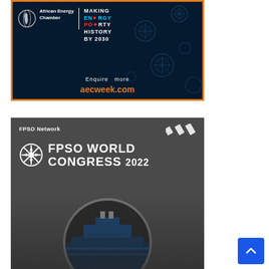[Figure (infographic): African Energy Chamber advertisement banner with dark navy background and orange border. Shows globe/Africa logo, 'African Energy Chamber' text, vertical divider, and text 'MAKING ENERGY POVERTY HISTORY BY 2030' in white/cyan/red. Bottom shows 'Enquire more' in white and 'aecweek.com' in orange. Background has decorative gear/snowflake patterns in dark blue.]
[Figure (infographic): FPSO Network advertisement banner with dark grey background. Shows 'FPSO Network' text top-left, three diagonal stripes top-right, large snowflake/compass logo and 'FPSO WORLD CONGRESS 2022' in large white bold text. Bottom portion shows a circular image of an FPSO ship.]
[Figure (other): Blue scroll-to-top button in bottom right corner with white upward arrow icon.]